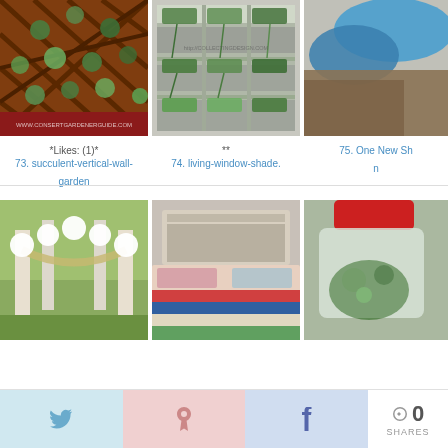[Figure (photo): Succulent vertical wall garden on a red wooden lattice fence]
[Figure (photo): Living window shade with shelves of plants and hanging vines]
[Figure (photo): Partial image showing blue/teal object and wood texture]
*Likes: (1)*
73. succulent-vertical-wall-garden
**
74. living-window-shade.
75. One New Sh n
[Figure (photo): Outdoor wedding arch with white pom poms and fabric draping between columns]
[Figure (photo): Bedroom with wooden headboard and colorful striped bedding]
[Figure (photo): Glass terrarium jar with red lid containing miniature plants]
0 SHARES